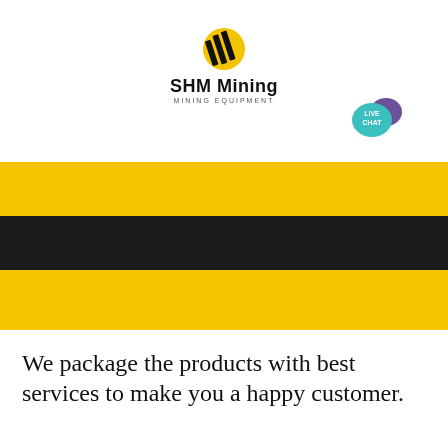[Figure (logo): SHM Mining logo with yellow and black diagonal stripe icon, brand name 'SHM Mining' and subtitle 'MINING EQUIPMENT']
[Figure (screenshot): Black navigation bar with live chat speech bubble icon (teal with 'LIVE CHAT' text) and purple chat icon, plus white hamburger menu lines]
homemade natural fertilizer
We package the products with best services to make you a happy customer.